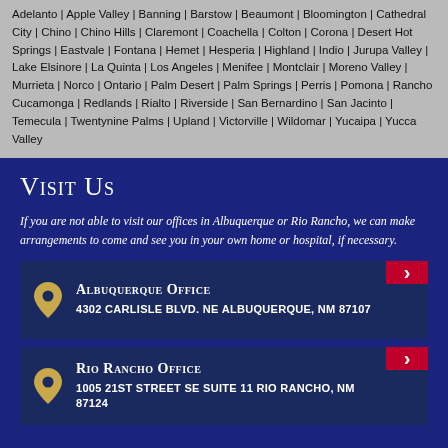Adelanto | Apple Valley | Banning | Barstow | Beaumont | Bloomington | Cathedral City | Chino | Chino Hills | Claremont | Coachella | Colton | Corona | Desert Hot Springs | Eastvale | Fontana | Hemet | Hesperia | Highland | Indio | Jurupa Valley | Lake Elsinore | La Quinta | Los Angeles | Menifee | Montclair | Moreno Valley | Murrieta | Norco | Ontario | Palm Desert | Palm Springs | Perris | Pomona | Rancho Cucamonga | Redlands | Rialto | Riverside | San Bernardino | San Jacinto | Temecula | Twentynine Palms | Upland | Victorville | Wildomar | Yucaipa | Yucca Valley
Visit Us
If you are not able to visit our offices in Albuquerque or Rio Rancho, we can make arrangements to come and see you in your own home or hospital, if necessary.
Albuquerque Office
4302 CARLISLE BLVD. NE ALBUQUERQUE, NM 87107
Rio Rancho Office
1005 21ST STREET SE SUITE 11 RIO RANCHO, NM 87124